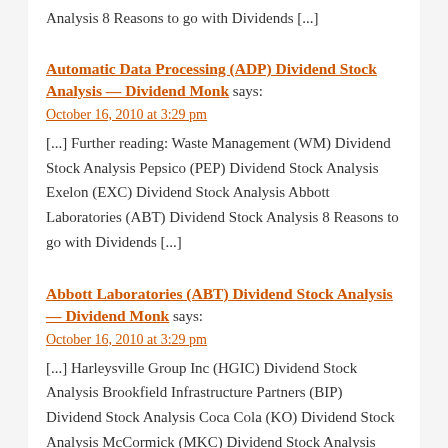Analysis 8 Reasons to go with Dividends [...]
Automatic Data Processing (ADP) Dividend Stock Analysis — Dividend Monk says:
October 16, 2010 at 3:29 pm
[...] Further reading: Waste Management (WM) Dividend Stock Analysis Pepsico (PEP) Dividend Stock Analysis Exelon (EXC) Dividend Stock Analysis Abbott Laboratories (ABT) Dividend Stock Analysis 8 Reasons to go with Dividends [...]
Abbott Laboratories (ABT) Dividend Stock Analysis — Dividend Monk says:
October 16, 2010 at 3:29 pm
[...] Harleysville Group Inc (HGIC) Dividend Stock Analysis Brookfield Infrastructure Partners (BIP) Dividend Stock Analysis Coca Cola (KO) Dividend Stock Analysis McCormick (MKC) Dividend Stock Analysis